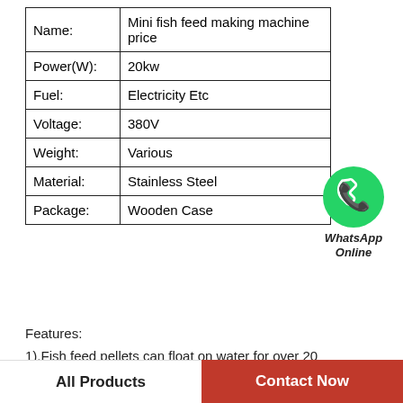| Name: | Mini fish feed making machine price |
| Power(W): | 20kw |
| Fuel: | Electricity Etc |
| Voltage: | 380V |
| Weight: | Various |
| Material: | Stainless Steel |
| Package: | Wooden Case |
[Figure (logo): WhatsApp green circle icon with phone handset, labeled WhatsApp Online in bold italic text]
Features:
1).Fish feed pellets can float on water for over 20 hours.Sinking and floating fish feed both can be made by adjusting formulation.
2).High temperature and high pressure cooking process can kill the
All Products
Contact Now